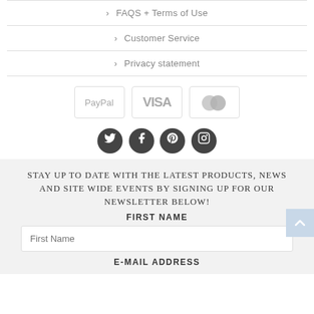> FAQS + Terms of Use
> Customer Service
> Privacy statement
[Figure (logo): Payment method logos: PayPal, VISA, MasterCard shown as bordered cards]
[Figure (illustration): Social media icons: Twitter, Facebook, Pinterest, Instagram as dark circles]
STAY UP TO DATE WITH THE LATEST PRODUCTS, NEWS AND SITE WIDE EVENTS BY SIGNING UP FOR OUR NEWSLETTER BELOW!
FIRST NAME
First Name
E-MAIL ADDRESS